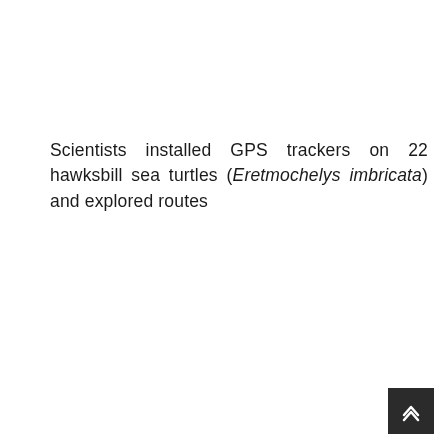Scientists installed GPS trackers on 22 hawksbill sea turtles (Eretmochelys imbricata) and explored routes